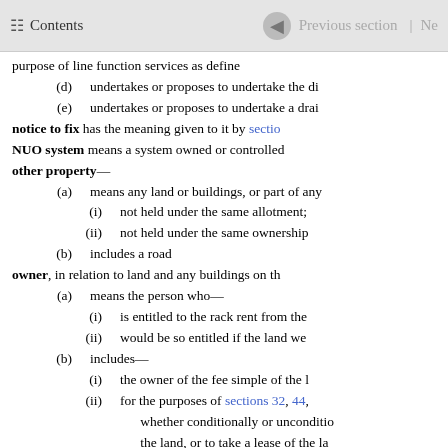Contents | Previous section | Ne
purpose of line function services as define
(d) undertakes or proposes to undertake the di
(e) undertakes or proposes to undertake a drai
notice to fix has the meaning given to it by sectio
NUO system means a system owned or controlled
other property—
(a) means any land or buildings, or part of any
(i) not held under the same allotment;
(ii) not held under the same ownership
(b) includes a road
owner, in relation to land and any buildings on th
(a) means the person who—
(i) is entitled to the rack rent from the
(ii) would be so entitled if the land we
(b) includes—
(i) the owner of the fee simple of the l
(ii) for the purposes of sections 32, 44, whether conditionally or unconditionally the land, or to take a lease of the la still in force